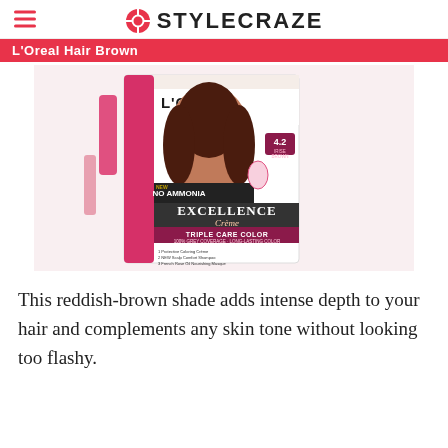STYLECRAZE
L'Oreal Hair Brown
[Figure (photo): L'Oreal Paris Excellence Creme hair color box, shade 4.2 (Irise Brown), showing a woman with reddish-brown hair on the packaging. The box features 'No Ammonia', 'Excellence Creme', 'Triple Care Color', '100% Grey Coverage - Long-Lasting Color' branding with French Rose Oil.]
This reddish-brown shade adds intense depth to your hair and complements any skin tone without looking too flashy.